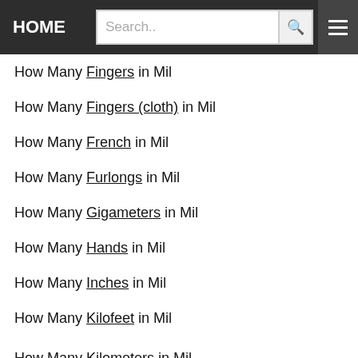HOME | Search..
How Many Fingers in Mil
How Many Fingers (cloth) in Mil
How Many French in Mil
How Many Furlongs in Mil
How Many Gigameters in Mil
How Many Hands in Mil
How Many Inches in Mil
How Many Kilofeet in Mil
How Many Kilometers in Mil
How Many Leagues in Mil
How Many Leagues (land) in Mil